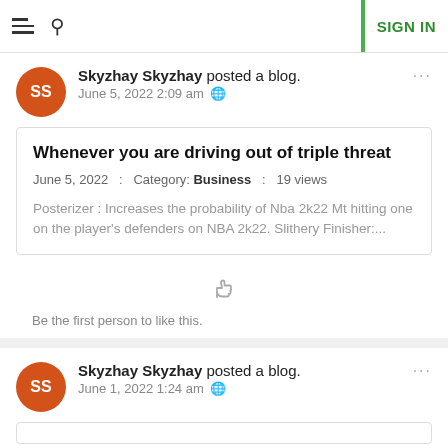SIGN IN
Skyzhay Skyzhay posted a blog. June 5, 2022 2:09 am
Whenever you are driving out of triple threat
June 5, 2022 : Category: Business : 19 views
Posterizer : Increases the probability of Nba 2k22 Mt hitting one on the player's defenders on NBA 2k22. Slithery Finisher:....
Be the first person to like this.
Skyzhay Skyzhay posted a blog. June 1, 2022 1:24 am